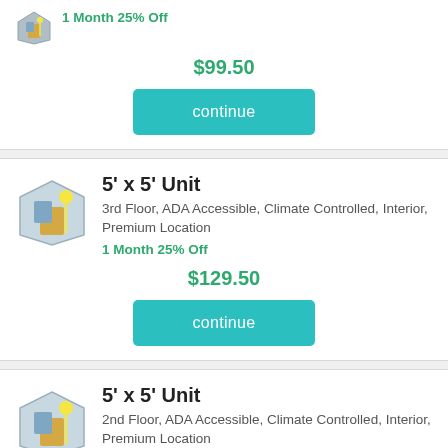1 Month 25% Off
$99.50
continue
5' x 5' Unit
3rd Floor, ADA Accessible, Climate Controlled, Interior, Premium Location
1 Month 25% Off
$129.50
continue
5' x 5' Unit
2nd Floor, ADA Accessible, Climate Controlled, Interior, Premium Location
1 Month 25% Off